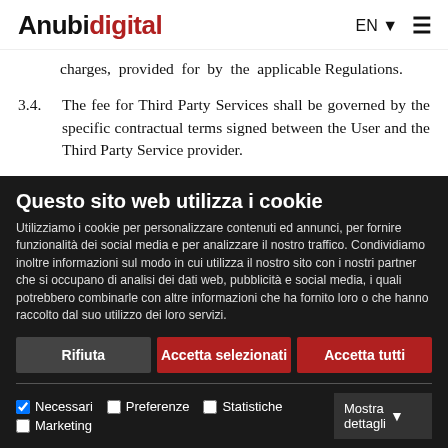Anubidigital  EN  ≡
charges, provided for by the applicable Regulations.
3.4. The fee for Third Party Services shall be governed by the specific contractual terms signed between the User and the Third Party Service provider.
Questo sito web utilizza i cookie
Utilizziamo i cookie per personalizzare contenuti ed annunci, per fornire funzionalità dei social media e per analizzare il nostro traffico. Condividiamo inoltre informazioni sul modo in cui utilizza il nostro sito con i nostri partner che si occupano di analisi dei dati web, pubblicità e social media, i quali potrebbero combinarle con altre informazioni che ha fornito loro o che hanno raccolto dal suo utilizzo dei loro servizi.
Rifiuta  Accetta selezionati  Accetta tutti
Necessari  Preferenze  Statistiche  Marketing  Mostra dettagli